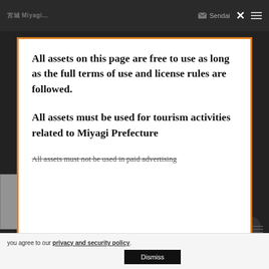Sendai
All assets on this page are free to use as long as the full terms of use and license rules are followed.
All assets must be used for tourism activities related to Miyagi Prefecture
All assets must not be used in paid advertising
you agree to our privacy and security policy.
Dismiss